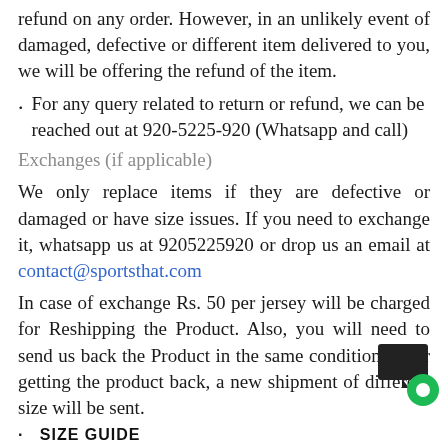refund on any order. However, in an unlikely event of damaged, defective or different item delivered to you, we will be offering the refund of the item.
For any query related to return or refund, we can be reached out at 920-5225-920 (Whatsapp and call)
Exchanges (if applicable)
We only replace items if they are defective or damaged or have size issues. If you need to exchange it, whatsapp us at 9205225920 or drop us an email at contact@sportsthat.com
In case of exchange Rs. 50 per jersey will be charged for Reshipping the Product. Also, you will need to send us back the Product in the same condition. After getting the product back, a new shipment of different size will be sent.
[Figure (other): Chat/support widget icon in bottom-right corner]
SIZE GUIDE